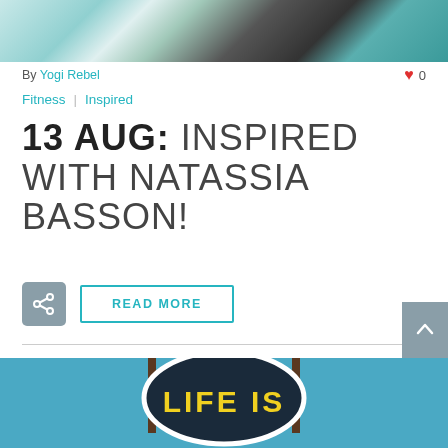[Figure (photo): Top cropped photo showing people and teal/cyan background]
By Yogi Rebel
0
Fitness | Inspired
13 AUG: INSPIRED WITH NATASSIA BASSON!
READ MORE
[Figure (photo): Bottom photo showing a sign reading LIFE IS with yellow letters on dark background, blue sky]